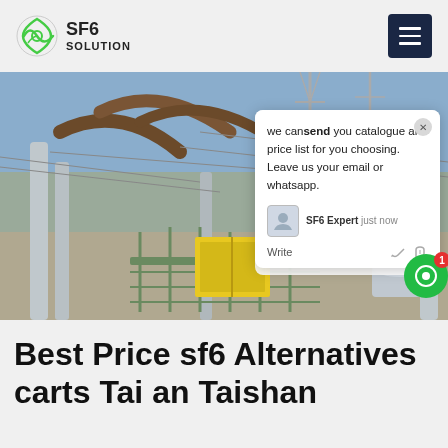SF6 SOLUTION
[Figure (photo): Electrical power substation with high-voltage equipment, transmission towers, insulators, and a yellow equipment container. A live chat popup overlay is visible on the right side reading: 'we can send you catalogue and price list for you choosing. Leave us your email or whatsapp.' with SF6 Expert just now, Write, and interaction icons.]
Best Price sf6 Alternatives carts Tai an Taishan